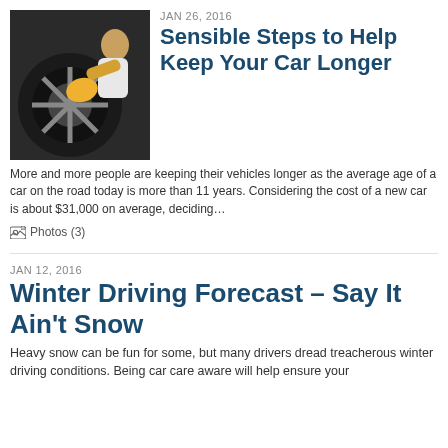[Figure (photo): Photo of a person polishing a car wheel with a yellow cloth]
JAN 26, 2016
Sensible Steps to Help Keep Your Car Longer
More and more people are keeping their vehicles longer as the average age of a car on the road today is more than 11 years. Considering the cost of a new car is about $31,000 on average, deciding…
Photos (3)
JAN 12, 2016
Winter Driving Forecast – Say It Ain't Snow
Heavy snow can be fun for some, but many drivers dread treacherous winter driving conditions. Being car care aware will help ensure your